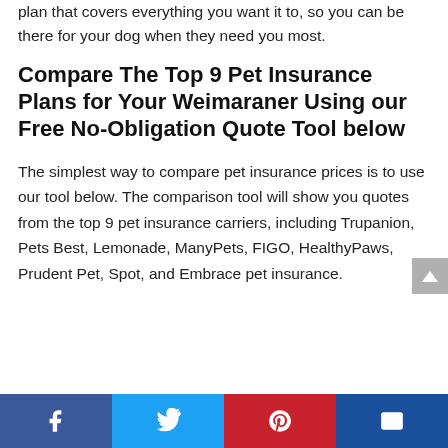plan that covers everything you want it to, so you can be there for your dog when they need you most.
Compare The Top 9 Pet Insurance Plans for Your Weimaraner Using our Free No-Obligation Quote Tool below
The simplest way to compare pet insurance prices is to use our tool below. The comparison tool will show you quotes from the top 9 pet insurance carriers, including Trupanion, Pets Best, Lemonade, ManyPets, FIGO, HealthyPaws, Prudent Pet, Spot, and Embrace pet insurance.